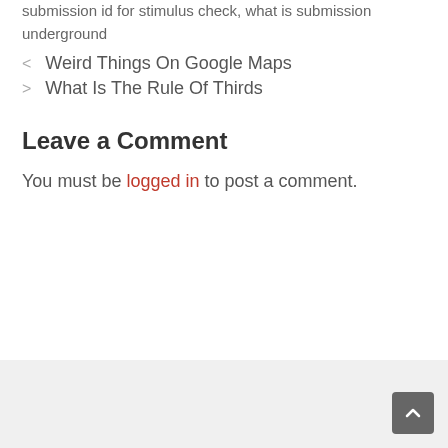submission id for stimulus check, what is submission underground
< Weird Things On Google Maps
> What Is The Rule Of Thirds
Leave a Comment
You must be logged in to post a comment.